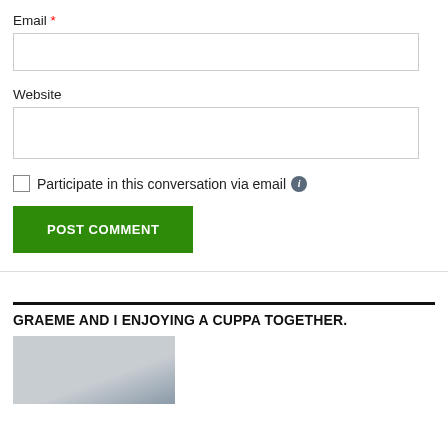Email *
Website
Participate in this conversation via email
POST COMMENT
GRAEME AND I ENJOYING A CUPPA TOGETHER.
[Figure (photo): Partial photo of a person, cropped at the bottom of the page]